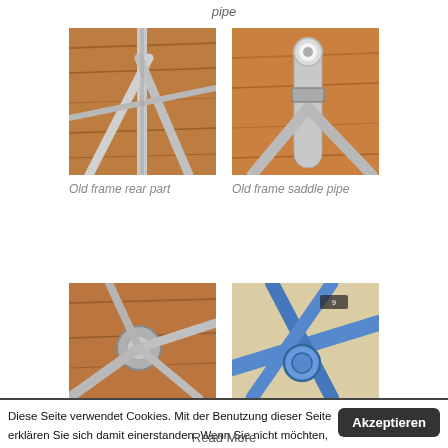pipe
[Figure (photo): Old bicycle frame rear part showing silver tubes against wooden background]
[Figure (photo): Old bicycle frame saddle pipe close-up showing ring clamp against orange background]
Old frame rear part
Old frame saddle pipe
[Figure (photo): Close-up of bicycle frame joint with cables against wooden background]
[Figure (photo): Blue bicycle frame bottom bracket area on cardboard surface]
Diese Seite verwendet Cookies. Mit der Benutzung dieser Seite erklären Sie sich damit einerstanden. Wenn Sie nicht möchten, dass Sie mit Google-Analytics getrackt werden, klicken Sie bitte diesen Link.
Read More